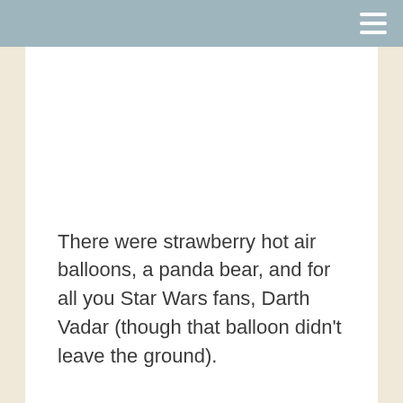There were strawberry hot air balloons, a panda bear, and for all you Star Wars fans, Darth Vadar (though that balloon didn't leave the ground).